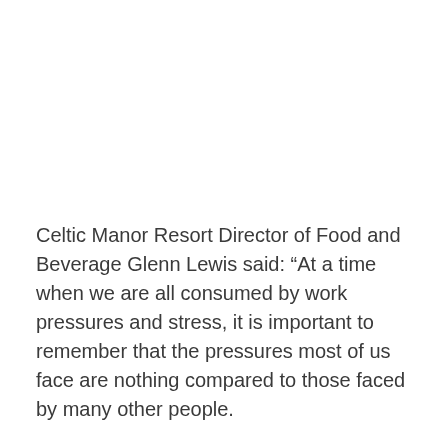Celtic Manor Resort Director of Food and Beverage Glenn Lewis said: “At a time when we are all consumed by work pressures and stress, it is important to remember that the pressures most of us face are nothing compared to those faced by many other people.